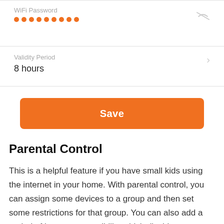WiFi Password
•••••••••
Validity Period
8 hours
[Figure (screenshot): Orange Save button, rounded rectangle]
Parental Control
This is a helpful feature if you have small kids using the internet in your home. With parental control, you can assign some devices to a group and then set some restrictions for that group. You can also add a period of internet accessibility which disables